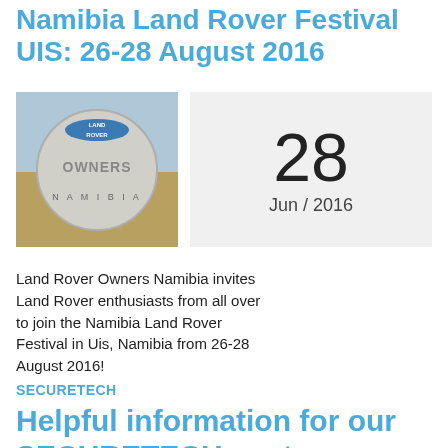Namibia Land Rover Festival UIS: 26-28 August 2016
[Figure (photo): Land Rover Owners Namibia logo on a round sticker/badge against an outdoor background]
28
Jun / 2016
Land Rover Owners Namibia invites Land Rover enthusiasts from all over to join the Namibia Land Rover Festival in Uis, Namibia from 26-28 August 2016!
SECURETECH
Helpful information for our SECURETECH customers